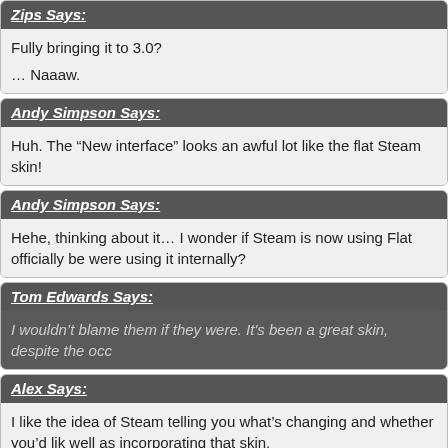Zips Says:
Fully bringing it to 3.0?

… Naaaw.
Andy Simpson Says:
Huh. The “New interface” looks an awful lot like the flat Steam skin!
Andy Simpson Says:
Hehe, thinking about it… I wonder if Steam is now using Flat officially be were using it internally?
Tom Edwards Says:
I wouldn’t blame them if they were. It's been a great skin, despite the occ
Alex Says:
I like the idea of Steam telling you what's changing and whether you'd lik well as incorporating that skin.

Now if only Friends would start working in-game for me again. 😕
wizpig64 Says:
I hope they get offline mode actually working. I recently had an internet c